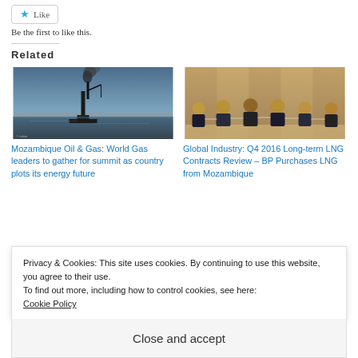Like | Be the first to like this.
Related
[Figure (photo): Offshore gas rig with flare stack emitting black smoke at dusk over the sea]
Mozambique Oil & Gas: World Gas leaders to gather for summit as country plots its energy future
[Figure (photo): Group of six businessmen in suits shaking hands around a conference table]
Global Industry: Q4 2016 Long-term LNG Contracts Review – BP Purchases LNG from Mozambique
Privacy & Cookies: This site uses cookies. By continuing to use this website, you agree to their use.
To find out more, including how to control cookies, see here:
Cookie Policy
Close and accept